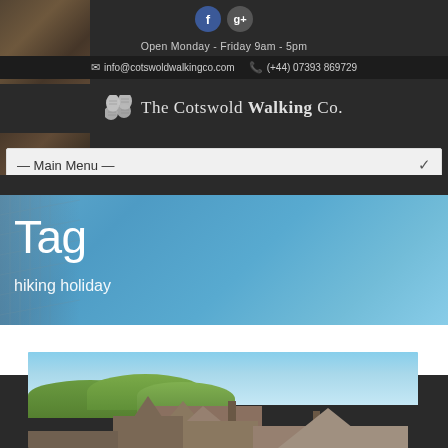[Figure (screenshot): Website header for The Cotswold Walking Co. showing social icons, contact info, logo, navigation menu, tag hero banner with 'hiking holiday' tag, and partial photo of Cotswold village rooftops]
Open Monday - Friday 9am - 5pm
info@cotswoldwalkingco.com   (+44) 07393 869729
The Cotswold Walking Co.
— Main Menu —
Tag
hiking holiday